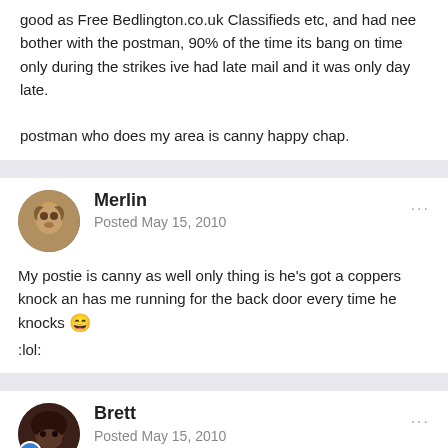good as Free Bedlington.co.uk Classifieds etc, and had nee bother with the postman, 90% of the time its bang on time only during the strikes ive had late mail and it was only day late.

postman who does my area is canny happy chap.
Merlin
Posted May 15, 2010

My postie is canny as well only thing is he's got a coppers knock an has me running for the back door every time he knocks :lol:
Brett
Posted May 15, 2010

On 14/05/2010 at 10:57, B2ET_M said: